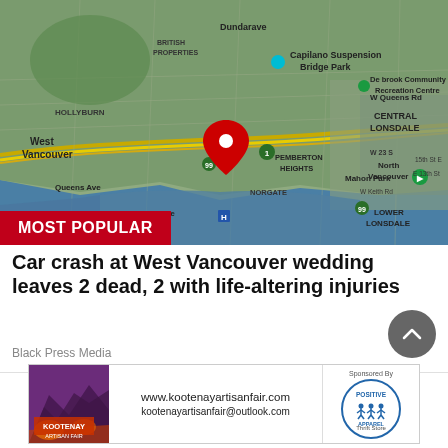[Figure (map): Google Maps satellite/hybrid view of West Vancouver and North Vancouver area showing streets, landmarks including Capilano Suspension Bridge Park, Dundarave, British Properties, Hollyburn, Pemberton Heights, Mahon Park, Central Lonsdale, Lower Lonsdale, Lions Gate Bridge area. A red location pin marker is placed in West Vancouver area. A 'MOST POPULAR' red badge overlays the bottom-left of the map.]
Car crash at West Vancouver wedding leaves 2 dead, 2 with life-altering injuries
Black Press Media
[Figure (infographic): Advertisement banner for Kootenay Artisan Fair showing website www.kootenayartisanfair.com and email kootenayartisanfair@outlook.com, with a 'Sponsored By' label and Positive Apparel Thrift Store logo on the right.]